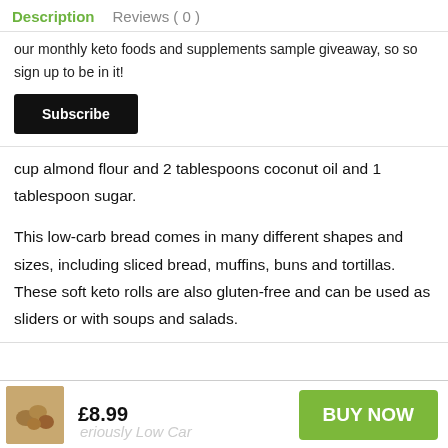Description   Reviews ( 0 )
our monthly keto foods and supplements sample giveaway, so so sign up to be in it!
Subscribe
cup almond flour and 2 tablespoons coconut oil and 1 tablespoon sugar.
This low-carb bread comes in many different shapes and sizes, including sliced bread, muffins, buns and tortillas. These soft keto rolls are also gluten-free and can be used as sliders or with soups and salads.
£8.99   BUY NOW